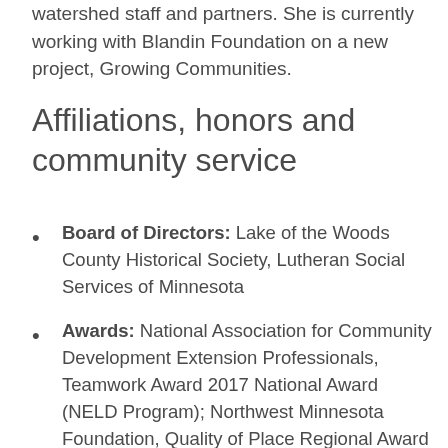watershed staff and partners. She is currently working with Blandin Foundation on a new project, Growing Communities.
Affiliations, honors and community service
Board of Directors: Lake of the Woods County Historical Society, Lutheran Social Services of Minnesota
Awards: National Association for Community Development Extension Professionals, Teamwork Award 2017 National Award (NELD Program); Northwest Minnesota Foundation, Quality of Place Regional Award 2016 (Emerging Leadership Program); National Association for Community Development Extension